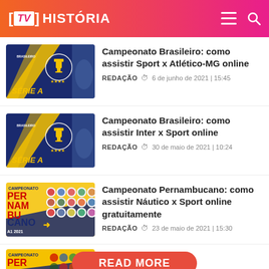[TV] HISTÓRIA
[Figure (screenshot): Campeonato Brasileiro Série A thumbnail - dark blue background with yellow diagonal stripe and trophy/ball logo]
Campeonato Brasileiro: como assistir Sport x Atlético-MG online
REDAÇÃO  🕐  6 de junho de 2021 | 15:45
[Figure (screenshot): Campeonato Brasileiro Série A thumbnail - dark blue background with yellow diagonal stripe and trophy/ball logo]
Campeonato Brasileiro: como assistir Inter x Sport online
REDAÇÃO  🕐  30 de maio de 2021 | 10:24
[Figure (screenshot): Campeonato Pernambucano thumbnail - yellow background with team logos grid and PERNAMBUCANO A1 2021 text]
Campeonato Pernambucano: como assistir Náutico x Sport online gratuitamente
REDAÇÃO  🕐  23 de maio de 2021 | 15:30
READ MORE
bucano: como